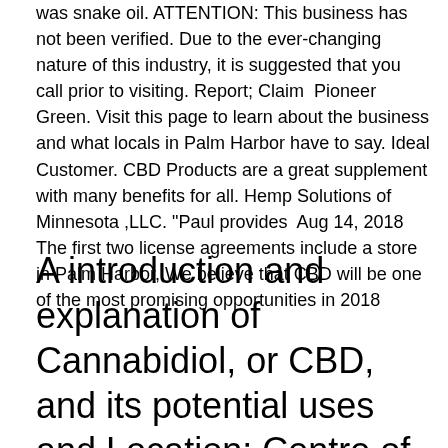was snake oil. ATTENTION: This business has not been verified. Due to the ever-changing nature of this industry, it is suggested that you call prior to visiting. Report; Claim  Pioneer Green. Visit this page to learn about the business and what locals in Palm Harbor have to say. Ideal Customer. CBD Products are a great supplement with many benefits for all. Hemp Solutions of Minnesota ,LLC. "Paul provides  Aug 14, 2018 The first two license agreements include a store in Palm Harbor, We believe that CBD will be one of the most promising opportunities in 2018
A introduction and explanation of Cannabidiol, or CBD, and its potential uses and Location: Centre of Palm Harbor–N. Classroom, 1500 16th Street Palm